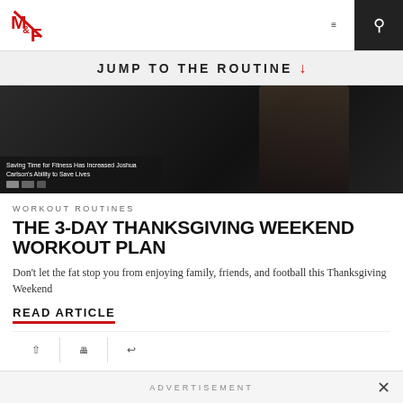M&F (Muscle & Fitness) navigation bar with logo, hamburger menu, and search button
JUMP TO THE ROUTINE ↓
[Figure (photo): Hero image showing a shirtless person from behind in a gym setting, with an overlay card reading 'Saving Time for Fitness Has Increased Joshua Carlson's Ability to Save Lives']
WORKOUT ROUTINES
THE 3-DAY THANKSGIVING WEEKEND WORKOUT PLAN
Don't let the fat stop you from enjoying family, friends, and football this Thanksgiving Weekend
READ ARTICLE
ADVERTISEMENT